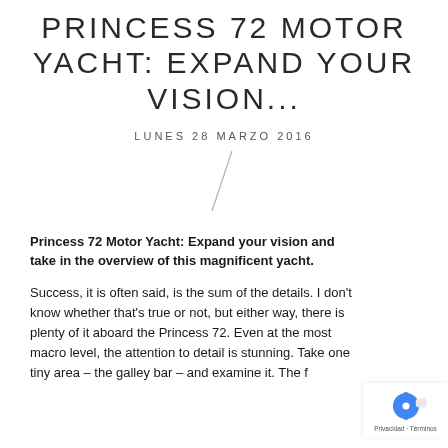PRINCESS 72 MOTOR YACHT: EXPAND YOUR VISION...
LUNES 28 MARZO 2016
Princess 72 Motor Yacht: Expand your vision and take in the overview of this magnificent yacht.
Success, it is often said, is the sum of the details. I don't know whether that's true or not, but either way, there is plenty of it aboard the Princess 72. Even at the most macro level, the attention to detail is stunning. Take one tiny area – the galley bar – and examine it. The f...